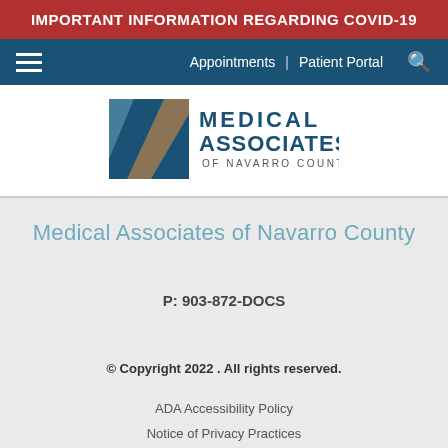IMPORTANT INFORMATION REGARDING COVID-19
[Figure (logo): Navigation bar with hamburger menu, Appointments | Patient Portal links, and search icon on blue background]
[Figure (logo): Medical Associates of Navarro County logo with blue square and diagonal slash graphic]
Medical Associates of Navarro County
P: 903-872-DOCS
© Copyright 2022 . All rights reserved.
ADA Accessibility Policy
Notice of Privacy Practices
Privacy Policy